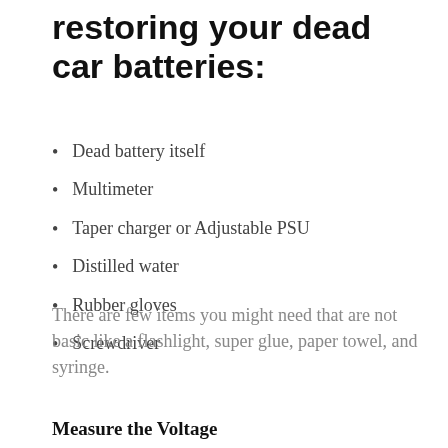restoring your dead car batteries:
Dead battery itself
Multimeter
Taper charger or Adjustable PSU
Distilled water
Rubber gloves
Screwdriver
There are few items you might need that are not basic like a flashlight, super glue, paper towel, and syringe.
Measure the Voltage